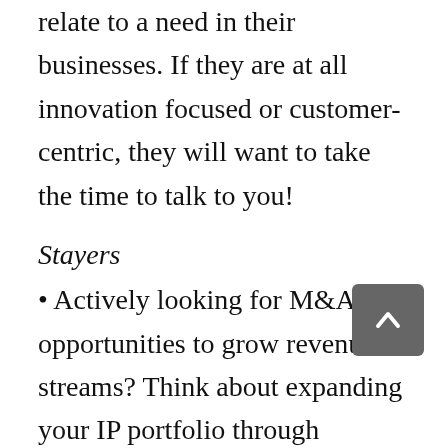and where your offering might relate to a need in their businesses. If they are at all innovation focused or customer-centric, they will want to take the time to talk to you!
Stayers
• Actively looking for M&A opportunities to grow revenue streams? Think about expanding your IP portfolio through support or investment in the start-up space.
• If “innovation” is sitting as an